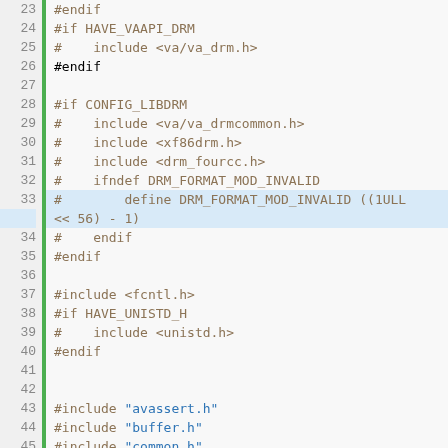[Figure (screenshot): Source code viewer showing C preprocessor directives and include statements, lines 23-56, with line numbers on left, green vertical bar separator, and syntax highlighting in brown/blue on light gray background.]